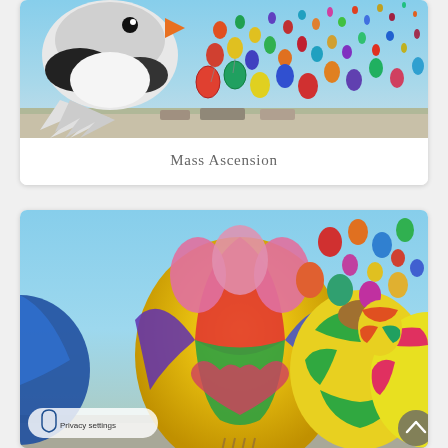[Figure (photo): Aerial view of hundreds of colorful hot air balloons during a mass ascension event, with a large novelty bird-shaped balloon in the foreground against a clear blue sky.]
Mass Ascension
[Figure (photo): Close-up ground-level view of many colorful hot air balloons at a mass ascension event, with a large yellow, red, pink, purple and green balloon prominently in the foreground, and dozens more filling the blue sky behind it.]